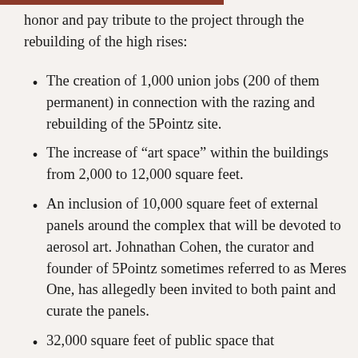honor and pay tribute to the project through the rebuilding of the high rises:
The creation of 1,000 union jobs (200 of them permanent) in connection with the razing and rebuilding of the 5Pointz site.
The increase of “art space” within the buildings from 2,000 to 12,000 square feet.
An inclusion of 10,000 square feet of external panels around the complex that will be devoted to aerosol art. Johnathan Cohen, the curator and founder of 5Pointz sometimes referred to as Meres One, has allegedly been invited to both paint and curate the panels.
32,000 square feet of public space that